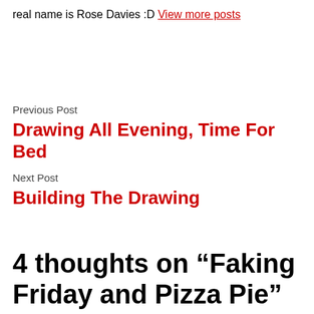real name is Rose Davies :D View more posts
Previous Post
Drawing All Evening, Time For Bed
Next Post
Building The Drawing
4 thoughts on “Faking Friday and Pizza Pie”